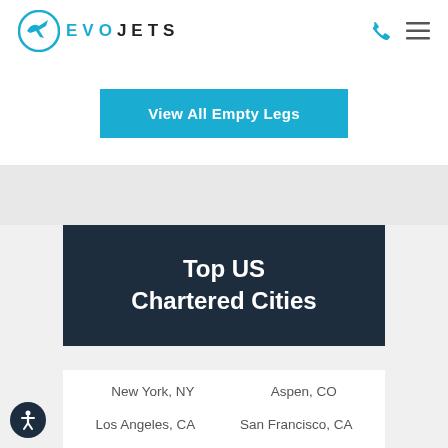EVO JETS
View All Empty Legs
Top US Chartered Cities
New York, NY
Aspen, CO
Los Angeles, CA
San Francisco, CA
Miami, FL
Chicago, IL